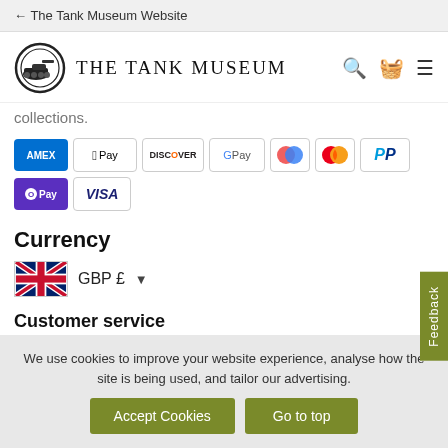← The Tank Museum Website
[Figure (logo): The Tank Museum circular logo with tank illustration]
THE TANK MUSEUM
collections.
[Figure (infographic): Payment method badges: Amex, Apple Pay, Discover, Google Pay, Maestro, Mastercard, PayPal, OPay, Visa]
Currency
[Figure (illustration): UK flag with GBP £ currency selector dropdown]
Customer service
Contact us
We use cookies to improve your website experience, analyse how the site is being used, and tailor our advertising.